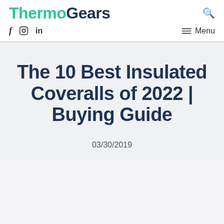ThermoGears
The 10 Best Insulated Coveralls of 2022 | Buying Guide
03/30/2019